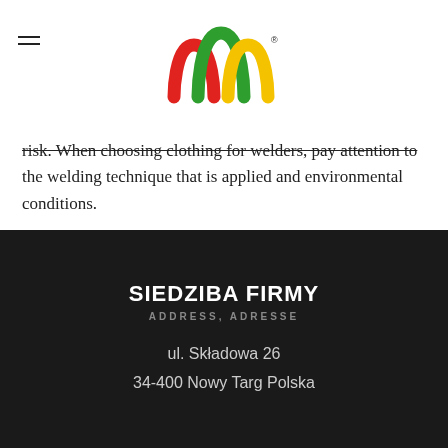[Figure (logo): Kegel-Błazusiak logo: three arches in red, green, yellow with company name below]
risk. When choosing clothing for welders, pay attention to the welding technique that is applied and environmental conditions.
SIEDZIBA FIRMY
ADDRESS, ADRESSE
ul. Składowa 26
34-400 Nowy Targ Polska